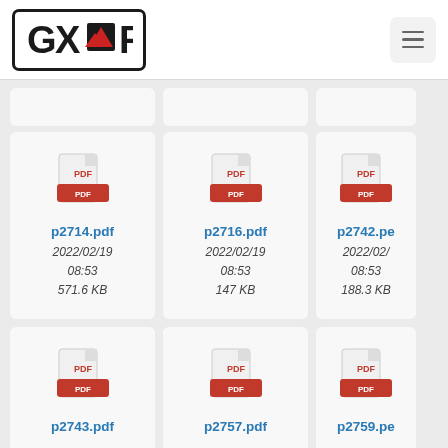[Figure (logo): GXOR logo with mountain graphic inside a rounded rectangle border]
[Figure (screenshot): Hamburger menu button (three horizontal lines) in a light gray rounded square]
[Figure (screenshot): Grid of PDF file cards. Row 1 (partial, clipped at top). Row 2: p2714.pdf (2022/02/19 08:53, 571.6 KB), p2716.pdf (2022/02/19 08:53, 147 KB), p2742.pdf (partially visible, 2022/02/ 08:53, 188.3 KB). Row 3 (partial bottom): p2743.pdf, p2757.pdf, p2759.pdf]